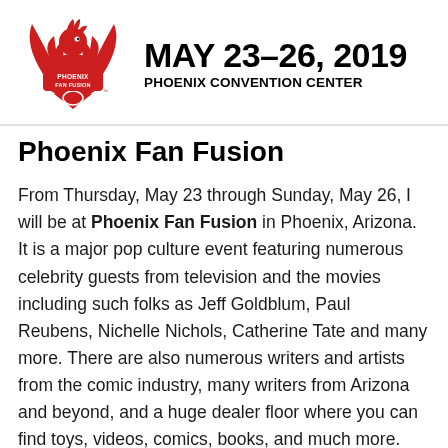[Figure (logo): Phoenix Fan Fusion logo: red phoenix bird with white text 'PHOENIX FAN FUSION' on its body]
MAY 23–26, 2019
PHOENIX CONVENTION CENTER
Phoenix Fan Fusion
From Thursday, May 23 through Sunday, May 26, I will be at Phoenix Fan Fusion in Phoenix, Arizona. It is a major pop culture event featuring numerous celebrity guests from television and the movies including such folks as Jeff Goldblum, Paul Reubens, Nichelle Nichols, Catherine Tate and many more. There are also numerous writers and artists from the comic industry, many writers from Arizona and beyond, and a huge dealer floor where you can find toys, videos, comics, books, and much more. You can learn more about the event at:
https://phoenixfanfusion.com/